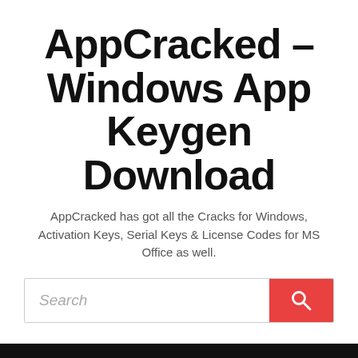AppCracked – Windows App Keygen Download
AppCracked has got all the Cracks for Windows, Activation Keys, Serial Keys & License Codes for MS Office as well.
[Figure (other): Search bar with text field and red search button]
≡  MENU
BLOG